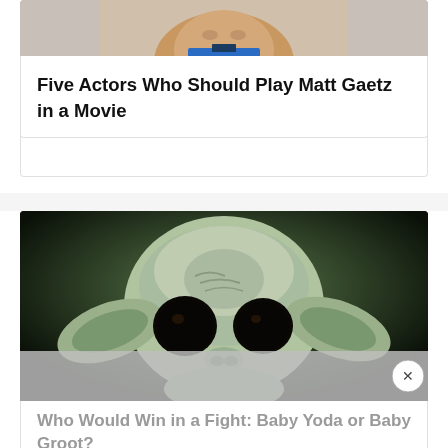[Figure (photo): Partial photo of a man in a blue jacket, cropped at the chin/neck area, light background]
Five Actors Who Should Play Matt Gaetz in a Movie
[Figure (photo): Close-up photo of Baby Yoda (The Child) from The Mandalorian, large dark eyes, pale green skin, big ears, dark background, with a semi-transparent ad overlay strip and a circular X close button]
Who Would Win in a Fight: Baby Yoda or Baby Groot?